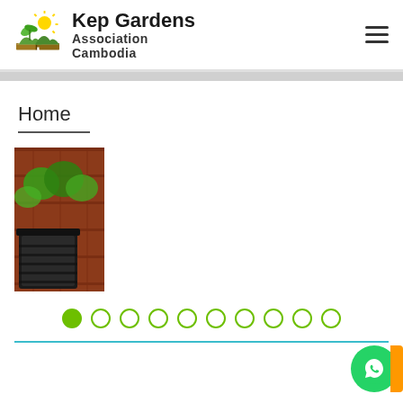Kep Gardens Association Cambodia
Home
[Figure (photo): A partially visible photo showing a garden scene with green vegetables and a black compost bin on the left side of a slideshow carousel]
[Figure (infographic): Slideshow navigation dots: 10 circles, first one filled green, rest are outlined green]
[Figure (infographic): WhatsApp contact button (green circle with phone icon) and orange tab at bottom right]